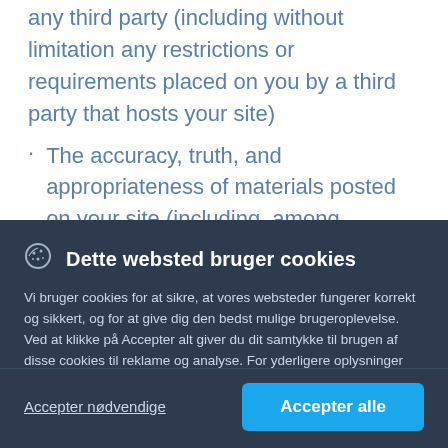any third party (including without limitation any restrictions or requirements placed on you by a third party that hosts your site)
The accuracy, truth, and appropriateness of materials posted on your site (including, among
[Figure (other): Cookie consent overlay with dark navy background showing cookie icon, title 'Dette websted bruger cookies', explanatory text in Danish, manage preferences link, and two buttons: 'Accepter nødvendige' and 'Accepter alle']